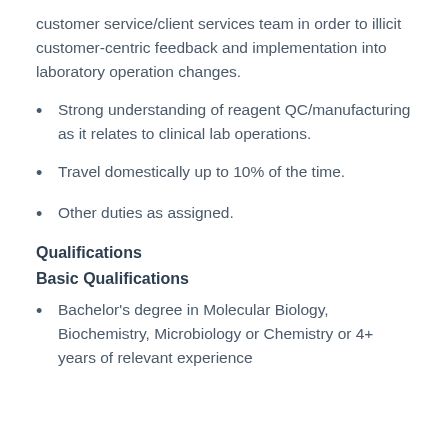customer service/client services team in order to illicit customer-centric feedback and implementation into laboratory operation changes.
Strong understanding of reagent QC/manufacturing as it relates to clinical lab operations.
Travel domestically up to 10% of the time.
Other duties as assigned.
Qualifications
Basic Qualifications
Bachelor's degree in Molecular Biology, Biochemistry, Microbiology or Chemistry or 4+ years of relevant experience